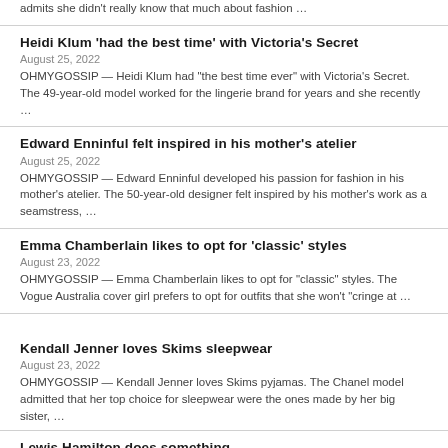admits she didn't really know that much about fashion …
Heidi Klum 'had the best time' with Victoria's Secret
August 25, 2022
OHMYGOSSIP — Heidi Klum had "the best time ever" with Victoria's Secret. The 49-year-old model worked for the lingerie brand for years and she recently …
Edward Enninful felt inspired in his mother's atelier
August 25, 2022
OHMYGOSSIP — Edward Enninful developed his passion for fashion in his mother's atelier. The 50-year-old designer felt inspired by his mother's work as a seamstress, …
Emma Chamberlain likes to opt for 'classic' styles
August 23, 2022
OHMYGOSSIP — Emma Chamberlain likes to opt for "classic" styles. The Vogue Australia cover girl prefers to opt for outfits that she won't "cringe at …
Kendall Jenner loves Skims sleepwear
August 23, 2022
OHMYGOSSIP — Kendall Jenner loves Skims pyjamas. The Chanel model admitted that her top choice for sleepwear were the ones made by her big sister, …
Lewis Hamilton does something…